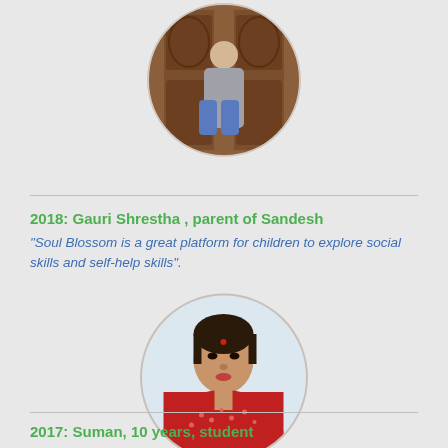[Figure (photo): Circular profile photo of a person standing near a decorative wooden door, wearing a grey jacket]
2018: Gauri Shrestha , parent of Sandesh
"Soul Blossom is a great platform for children to explore social skills and self-help skills".
[Figure (photo): Circular profile photo of a woman in a red outfit, middle-aged, with a bindi on forehead]
2017: Suman, 10 years, student